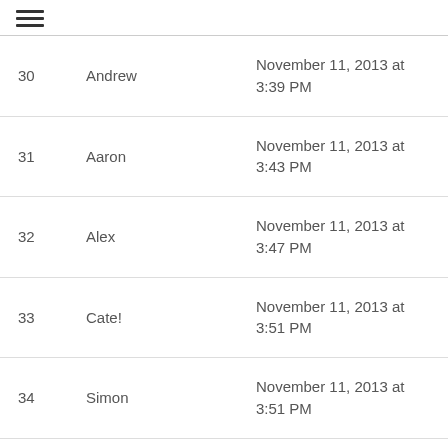≡
| # | Name | Date |
| --- | --- | --- |
| 30 | Andrew | November 11, 2013 at 3:39 PM |
| 31 | Aaron | November 11, 2013 at 3:43 PM |
| 32 | Alex | November 11, 2013 at 3:47 PM |
| 33 | Cate! | November 11, 2013 at 3:51 PM |
| 34 | Simon | November 11, 2013 at 3:51 PM |
| 35 | Sri | November 11, 2013 at 3:54 PM |